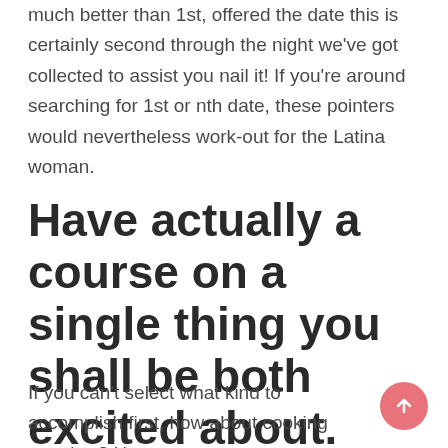much better than 1st, offered the date this is certainly second through the night we've got collected to assist you nail it! If you're around searching for 1st or nth date, these pointers would nevertheless work-out for the Latina woman.
Have actually a course on a single thing you shall be both excited about.
If you can't select what kind to accomplish first, how about cooking together? Have